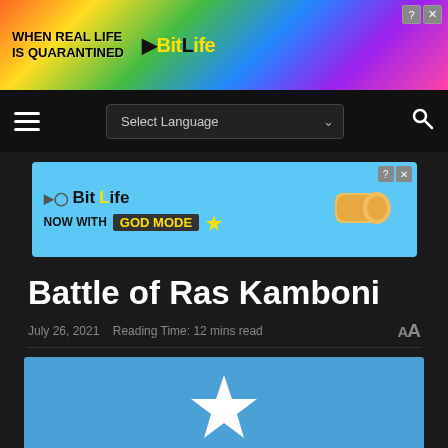[Figure (screenshot): BitLife advertisement banner with rainbow gradient background. Text reads: WHEN REAL LIFE IS QUARANTINED → BitLife. Shows emoji characters.]
[Figure (screenshot): Navigation bar with dark background, hamburger menu icon on left, Select Language dropdown in center, and search icon on right.]
[Figure (screenshot): BitLife advertisement: NOW WITH GOD MODE on a light blue background with pointing hand graphic.]
Battle of Ras Kamboni
July 26, 2021   Reading Time: 12 mins read
[Figure (photo): Partially visible image showing Somalia flag — blue background with white star.]